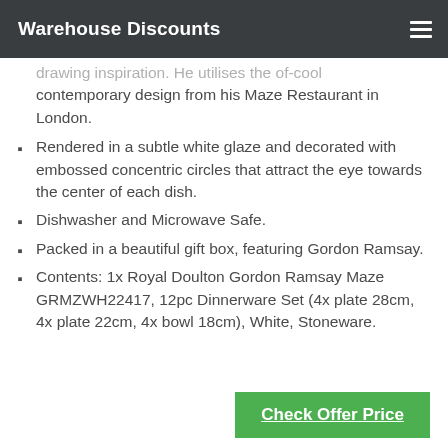Warehouse Discounts
drawing inspiration. He utilises the of-cool contemporary design from his Maze Restaurant in London.
Rendered in a subtle white glaze and decorated with embossed concentric circles that attract the eye towards the center of each dish.
Dishwasher and Microwave Safe.
Packed in a beautiful gift box, featuring Gordon Ramsay.
Contents: 1x Royal Doulton Gordon Ramsay Maze GRMZWH22417, 12pc Dinnerware Set (4x plate 28cm, 4x plate 22cm, 4x bowl 18cm), White, Stoneware.
Check Offer Price